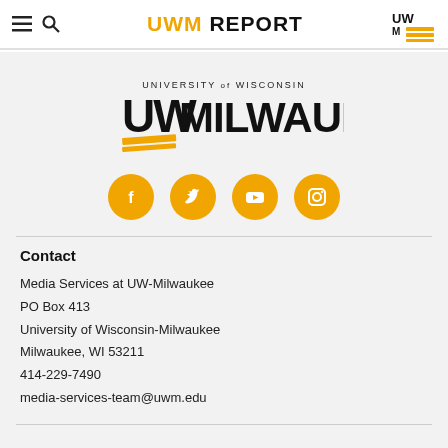UWM REPORT
[Figure (logo): University of Wisconsin-Milwaukee logo with stylized UW text and gold graphic lines]
[Figure (infographic): Row of four gold circular social media icons: Facebook, Twitter, YouTube, Instagram]
Contact
Media Services at UW-Milwaukee
PO Box 413
University of Wisconsin-Milwaukee
Milwaukee, WI 53211
414-229-7490
media-services-team@uwm.edu